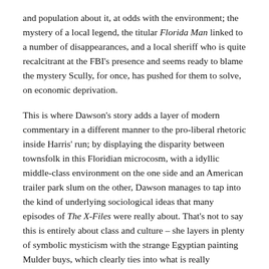and population about it, at odds with the environment; the mystery of a local legend, the titular Florida Man linked to a number of disappearances, and a local sheriff who is quite recalcitrant at the FBI's presence and seems ready to blame the mystery Scully, for once, has pushed for them to solve, on economic deprivation.
This is where Dawson's story adds a layer of modern commentary in a different manner to the pro-liberal rhetoric inside Harris' run; by displaying the disparity between townsfolk in this Floridian microcosm, with a idyllic middle-class environment on the one side and an American trailer park slum on the other, Dawson manages to tap into the kind of underlying sociological ideas that many episodes of The X-Files were really about. That's not to say this is entirely about class and culture – she layers in plenty of symbolic mysticism with the strange Egyptian painting Mulder buys, which clearly ties into what is really happening in this town, but the brew is all mixed together here.
That leads to a slight tonal uncertainty with Florida Man. At times you wonder if it's edging towards a Darin Morgan-esque proof and then others it feels more in the vein of El Mundo Gira's blend of economic social commentary and strange townsfolk. Dawson's